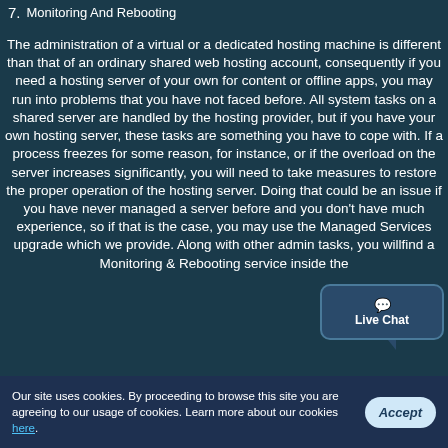7. Monitoring And Rebooting
The administration of a virtual or a dedicated hosting machine is different than that of an ordinary shared web hosting account, consequently if you need a hosting server of your own for content or offline apps, you may run into problems that you have not faced before. All system tasks on a shared server are handled by the hosting provider, but if you have your own hosting server, these tasks are something you have to cope with. If a process freezes for some reason, for instance, or if the overload on the server increases significantly, you will need to take measures to restore the proper operation of the hosting server. Doing that could be an issue if you have never managed a server before and you don't have much experience, so if that is the case, you may use the Managed Services upgrade which we provide. Along with other admin tasks, you willfind a Monitoring & Rebooting service inside the
[Figure (other): Live Chat bubble/widget in lower right corner of page]
Our site uses cookies. By proceeding to browse this site you are agreeing to our usage of cookies. Learn more about our cookies here.